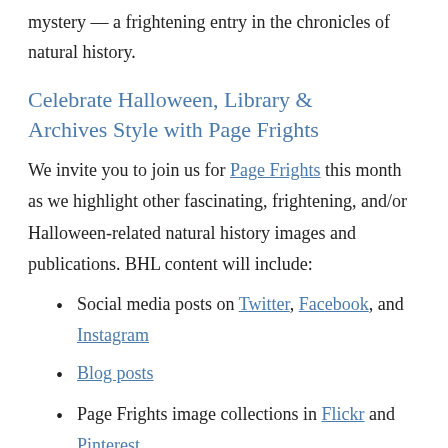mystery — a frightening entry in the chronicles of natural history.
Celebrate Halloween, Library & Archives Style with Page Frights
We invite you to join us for Page Frights this month as we highlight other fascinating, frightening, and/or Halloween-related natural history images and publications. BHL content will include:
Social media posts on Twitter, Facebook, and Instagram
Blog posts
Page Frights image collections in Flickr and Pinterest